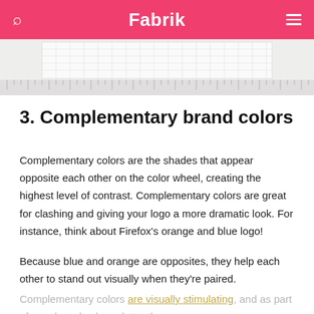Fabrik
[Figure (screenshot): Partial view of a grid/ruler design tool interface showing graph paper with ruler markings along the bottom edge, on a light gray background.]
3. Complementary brand colors
Complementary colors are the shades that appear opposite each other on the color wheel, creating the highest level of contrast. Complementary colors are great for clashing and giving your logo a more dramatic look. For instance, think about Firefox's orange and blue logo!
Because blue and orange are opposites, they help each other to stand out visually when they're paired.
Complementary colors are visually stimulating, and as part of your brand color palette, they can convey